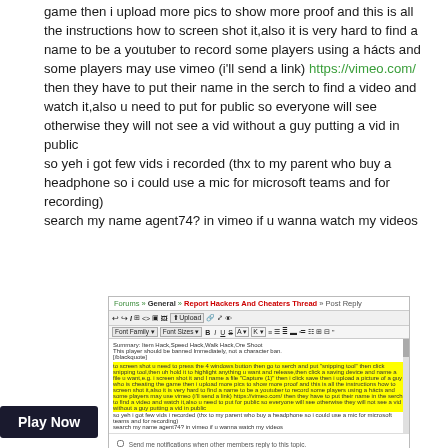game then i upload more pics to show more proof and this is all the instructions how to screen shot it,also it is very hard to find a name to be a youtuber to record some players using a hácts and some players may use vimeo (i'll send a link) https://vimeo.com/ then they have to put their name in the serch to find a video and watch it,also u need to put for public so everyone will see otherwise they will not see a vid without a guy putting a vid in public
so yeh i got few vids i recorded (thx to my parent who buy a headphone so i could use a mic for microsoft teams and for recording)
search my name agent74? in vimeo if u wanna watch my videos
[Figure (screenshot): Screenshot of a forum post editor showing breadcrumb navigation 'Forums > General > Report Hackers And Cheaters Thread > Post Reply', toolbar with font options and formatting buttons, and text editor area with highlighted yellow text containing the same post content. A 'Post Reply' green button and 'or cancel' link appear at the bottom.]
get it now?
comment
ia1  238 posts
49 AM PDT